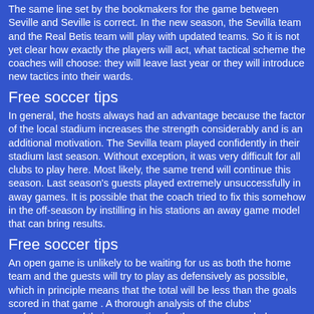The same line set by the bookmakers for the game between Seville and Seville is correct. In the new season, the Sevilla team and the Real Betis team will play with updated teams. So it is not yet clear how exactly the players will act, what tactical scheme the coaches will choose: they will leave last year or they will introduce new tactics into their wards.
Free soccer tips
In general, the hosts always had an advantage because the factor of the local stadium increases the strength considerably and is an additional motivation. The Sevilla team played confidently in their stadium last season. Without exception, it was very difficult for all clubs to play here. Most likely, the same trend will continue this season. Last season's guests played extremely unsuccessfully in away games. It is possible that the coach tried to fix this somehow in the off-season by instilling in his stations an away game model that can bring results.
Free soccer tips
An open game is unlikely to be waiting for us as both the home team and the guests will try to play as defensively as possible, which in principle means that the total will be less than the goals scored in that game . A thorough analysis of the clubs' performance and their preparation for the new season led our forecasters to the idea that the most likely outcome of this game would be a tie. Yes, the ratio is pretty high, which undoubtedly scares some bettors, but this is the safest bet on this game.
Free soccer picks
Seville - Real Betis forecast (August 30, 2018), prices and odds
Free soccer predictions